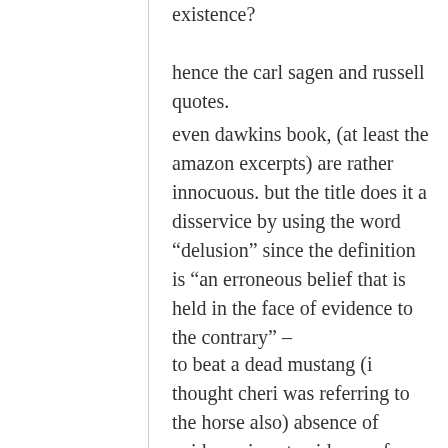existence?
hence the carl sagen and russell quotes.
even dawkins book, (at least the amazon excerpts) are rather innocuous. but the title does it a disservice by using the word “delusion” since the definition is “an erroneous belief that is held in the face of evidence to the contrary” –
to beat a dead mustang (i thought cheri was referring to the horse also) absence of evidence is not evidence of absence.